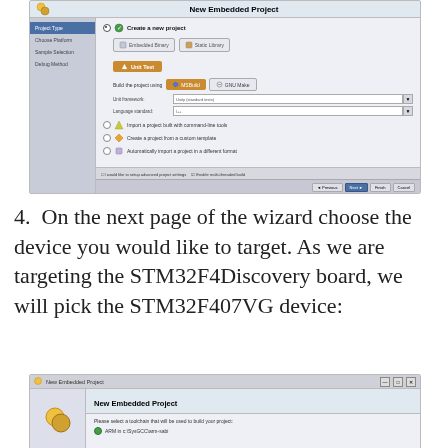[Figure (screenshot): Screenshot of 'New Embedded Project' dialog showing project type selection with options: Create a new project (selected), with sub-options Embedded Binary, Static Library, Unit Test; build system options MSBuild (selected) and GNU Make; unit test framework and language standard fields; Import a project built with command-line tools; Create a project from a custom template; Automatically import a project in a different format; checkboxes at bottom for advanced project settings and enable multi-threaded build; navigation buttons Previous, Next, Finish, Cancel.]
4. On the next page of the wizard choose the device you would like to target. As we are targeting the STM32F4Discovery board, we will pick the STM32F407VG device:
[Figure (screenshot): Screenshot of 'New Embedded Project' dialog showing toolchain selection page with text 'Please select a toolchain that will be used to build your project' and option 'ARM in c:\SysGCC\arm-sabi' with green indicator.]